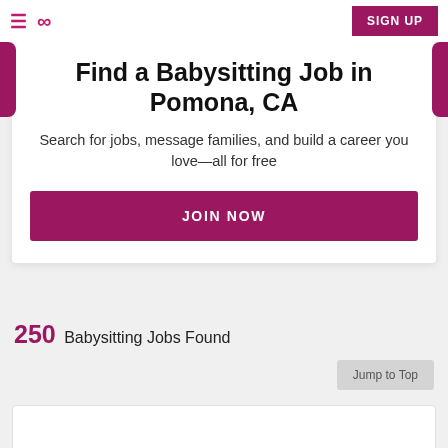≡  ∞   SIGN UP
Find a Babysitting Job in Pomona, CA
Search for jobs, message families, and build a career you love—all for free
JOIN NOW
250 Babysitting Jobs Found
Jump to Top